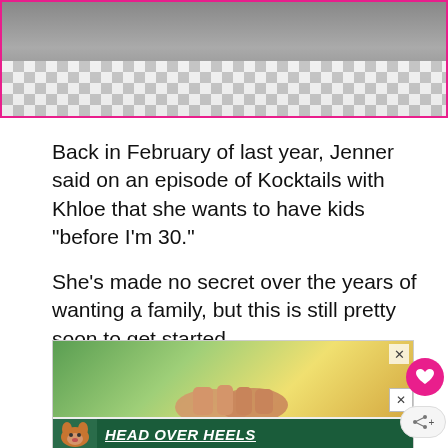[Figure (photo): Cropped photo of a person on a checkered floor, shown from waist down, with a pink border frame. Only the bottom portion of the image is visible.]
Back in February of last year, Jenner said on an episode of Kocktails with Khloe that she wants to have kids "before I'm 30."
She's made no secret over the years of wanting a family, but this is still pretty soon to get started.
[Figure (photo): Advertisement image showing two hands clasped together, outdoors with a blurred green/golden background. Below is a dark green banner reading HEAD OVER HEELS with a dog icon and close button.]